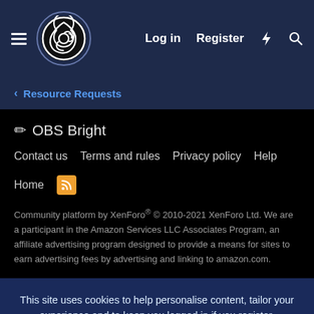OBS Project Forum — Log in | Register
< Resource Requests
✎ OBS Bright
Contact us  Terms and rules  Privacy policy  Help  Home  [RSS]
Community platform by XenForo® © 2010-2021 XenForo Ltd. We are a participant in the Amazon Services LLC Associates Program, an affiliate advertising program designed to provide a means for sites to earn advertising fees by advertising and linking to amazon.com.
This site uses cookies to help personalise content, tailor your experience and to keep you logged in if you register.
By continuing to use this site, you are consenting to our use of cookies.
✓ Accept   Learn more...